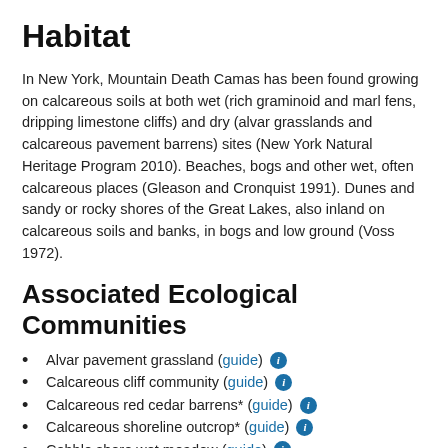Habitat
In New York, Mountain Death Camas has been found growing on calcareous soils at both wet (rich graminoid and marl fens, dripping limestone cliffs) and dry (alvar grasslands and calcareous pavement barrens) sites (New York Natural Heritage Program 2010). Beaches, bogs and other wet, often calcareous places (Gleason and Cronquist 1991). Dunes and sandy or rocky shores of the Great Lakes, also inland on calcareous soils and banks, in bogs and low ground (Voss 1972).
Associated Ecological Communities
Alvar pavement grassland (guide) ℹ
Calcareous cliff community (guide) ℹ
Calcareous red cedar barrens* (guide) ℹ
Calcareous shoreline outcrop* (guide) ℹ
Cobble shore wet meadow (guide) ℹ
Marl fen (guide) ℹ
Rich graminoid fen (guide) ℹ
Associated Species